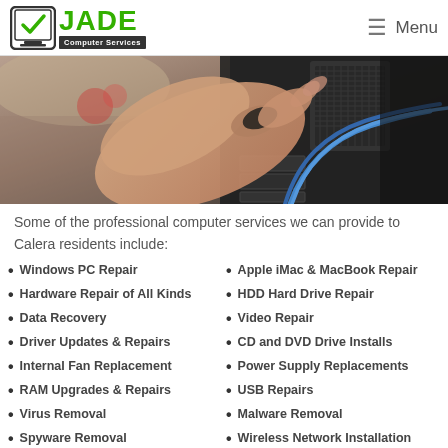JADE Computer Services — Menu
[Figure (photo): A person working inside a desktop computer tower, connecting cables, with blue wires visible against dark hardware components.]
Some of the professional computer services we can provide to Calera residents include:
Windows PC Repair
Hardware Repair of All Kinds
Data Recovery
Driver Updates & Repairs
Internal Fan Replacement
RAM Upgrades & Repairs
Virus Removal
Spyware Removal
Apple iMac & MacBook Repair
HDD Hard Drive Repair
Video Repair
CD and DVD Drive Installs
Power Supply Replacements
USB Repairs
Malware Removal
Wireless Network Installation